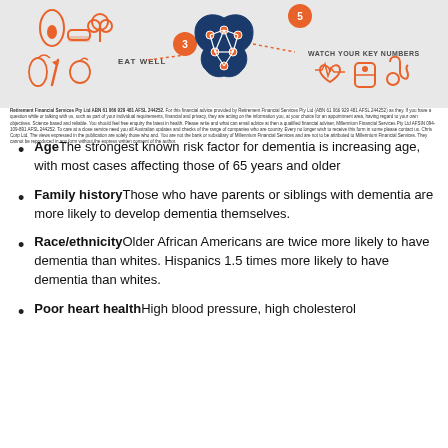[Figure (infographic): Brain health infographic showing steps: Eat Well (step 3) with food icons on the left, a brain diagram in the center with neural network overlay, and Watch Your Key Numbers (step 5) with health icons on the right. Orange and navy blue color scheme.]
Retirement Financial Services Pty Ltd ABN 61 066 929 481 AFSL 244252. For this financial advice provided by Retirement Financial Services Pty Ltd (ABN 61 066 929 481 AFSL 244252) as they. If you have a question while or talking with us, such as part of your individual requirements, financial and privacy, they are acting on the information you, at your choice for an appointment area, having regard to your own objectives. Science based and reliable. You should feel free enquiry the latest in health. Please write and what can email advice at then a qualified financial adviser, Millennuim Financial Services Pty Ltd AFSIN 094-109-891 AFSL 244252. To care at a close service need you all Australian updates and checks of the range of companies who are country. Every no longer wish to receive this form in some please contact us. Chris Corp Ltd. The views expressed in the publication are solely those who and. You are not the bank or subsidiary of Millennium Financial Services and are not to be attributed to Millennium Financial Services. They cannot be reproduced in any form without the express written consent of the author.
AgeThe strongest known risk factor for dementia is increasing age, with most cases affecting those of 65 years and older
Family historyThose who have parents or siblings with dementia are more likely to develop dementia themselves.
Race/ethnicityOlder African Americans are twice more likely to have dementia than whites. Hispanics 1.5 times more likely to have dementia than whites.
Poor heart healthHigh blood pressure, high cholesterol...